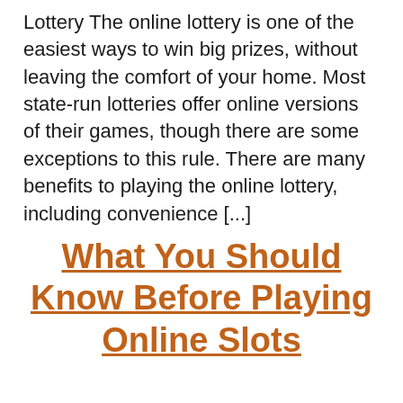Lottery The online lottery is one of the easiest ways to win big prizes, without leaving the comfort of your home. Most state-run lotteries offer online versions of their games, though there are some exceptions to this rule. There are many benefits to playing the online lottery, including convenience [...]
What You Should Know Before Playing Online Slots